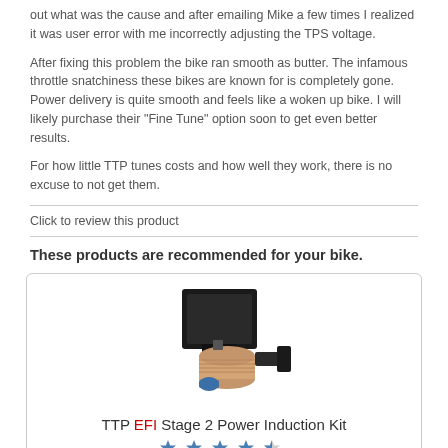out what was the cause and after emailing Mike a few times I realized it was user error with me incorrectly adjusting the TPS voltage.
After fixing this problem the bike ran smooth as butter. The infamous throttle snatchiness these bikes are known for is completely gone. Power delivery is quite smooth and feels like a woken up bike. I will likely purchase their "Fine Tune" option soon to get even better results.
For how little TTP tunes costs and how well they work, there is no excuse to not get them.
Click to review this product
These products are recommended for your bike.
[Figure (photo): Product photo of TTP EFI Stage 2 Power Induction Kit showing a black air intake assembly with a pink/tan cylindrical air filter and blue components]
TTP EFI Stage 2 Power Induction Kit
[Figure (other): Star rating row showing approximately 4.5 out of 5 stars in blue]